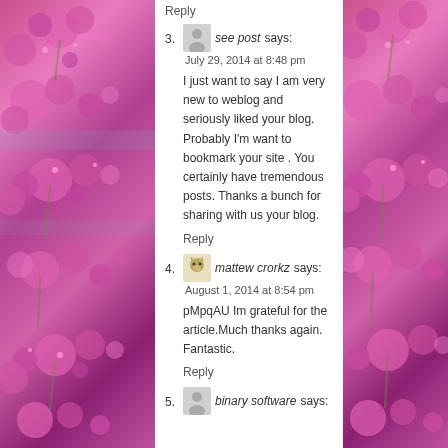Reply
3. see post says:
July 29, 2014 at 8:48 pm
I just want to say I am very new to weblog and seriously liked your blog. Probably I'm want to bookmark your site . You certainly have tremendous posts. Thanks a bunch for sharing with us your blog.
Reply
4. mattew crorkz says:
August 1, 2014 at 8:54 pm
pMpqAU Im grateful for the article.Much thanks again. Fantastic.
Reply
5. binary software says: